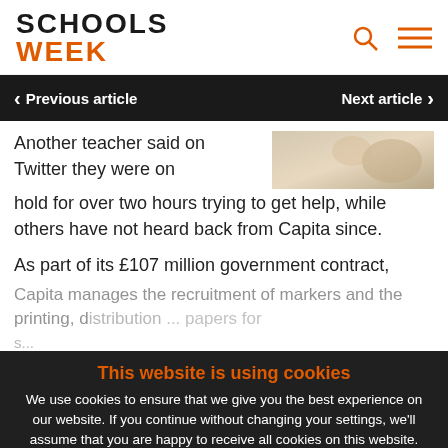SCHOOLS WEEK
Previous article | Next article
Another teacher said on Twitter they were on hold for over two hours trying to get help, while others have not heard back from Capita since.
As part of its £107 million government contract, Capita manages the recruitment of markers and the printing, distribution... papers for s...
Capita drafts in additional staff
This website is using cookies
We use cookies to ensure that we give you the best experience on our website. If you continue without changing your settings, we'll assume that you are happy to receive all cookies on this website.
Accept | Learn More